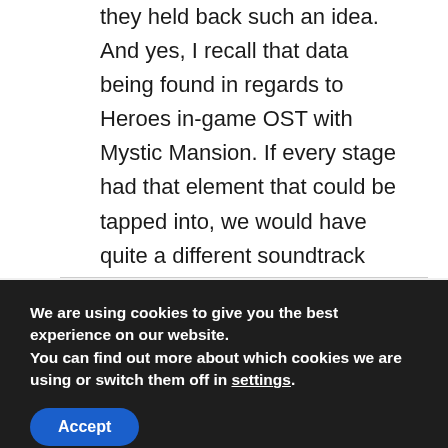they held back such an idea. And yes, I recall that data being found in regards to Heroes in-game OST with Mystic Mansion. If every stage had that element that could be tapped into, we would have quite a different soundtrack every time we played.

We know its possible, its just waiting to be used as an element of design. If its on the disc, it should be used!
We are using cookies to give you the best experience on our website.
You can find out more about which cookies we are using or switch them off in settings.